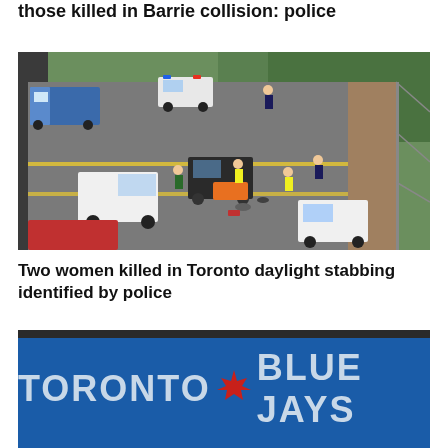those killed in Barrie collision: police
[Figure (photo): Aerial view of a multi-vehicle collision scene on a road with emergency responders, police vehicles, ambulances, and first responders attending to accident victims on the roadway, surrounded by trees.]
Two women killed in Toronto daylight stabbing identified by police
[Figure (photo): Toronto Blue Jays sign/marquee with large white lettering 'TORONTO BLUE JAYS' on a blue background with a red maple leaf symbol between TORONTO and BLUE JAYS.]